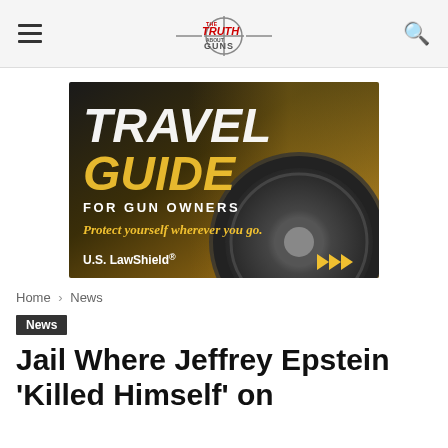The Truth About Guns
[Figure (illustration): Travel Guide for Gun Owners advertisement by U.S. LawShield. Dark background with car wheel image. Text reads 'TRAVEL GUIDE FOR GUN OWNERS - Protect yourself wherever you go.' with golden arrows and U.S. LawShield branding.]
Home › News
News
Jail Where Jeffrey Epstein 'Killed Himself' on